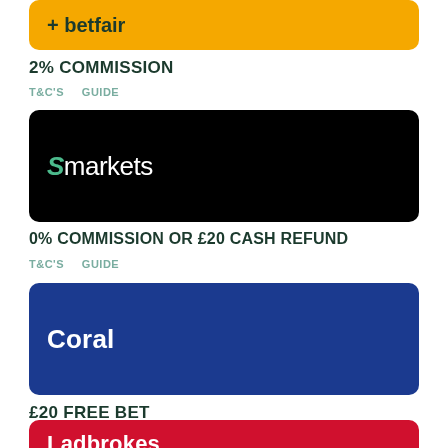[Figure (logo): Betfair logo banner - yellow/gold background with Betfair branding]
2% COMMISSION
T&C'S   GUIDE
[Figure (logo): Smarkets logo banner - black background with Smarkets branding]
0% COMMISSION OR £20 CASH REFUND
T&C'S   GUIDE
[Figure (logo): Coral logo banner - dark blue background with Coral branding]
£20 FREE BET
T&C'S   GUIDE
[Figure (logo): Ladbrokes logo banner - red background with Ladbrokes branding]